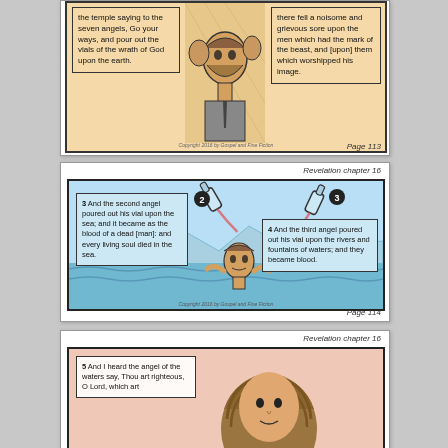[Figure (illustration): Comic book style illustration from Revelation chapter 16. Top panel (partially visible): two text boxes on peach/tan background with figure illustrations in center. Left box reads 'the temple saying to the seven angels, Go your ways, and pour out the vials of the wrath of God upon the earth.' Right box reads 'there fell a noisome and grievous sore upon the men which had the mark of the beast, and [upon] them which worshipped his image.' Center shows illustrated figures of people.]
Page 113
[Figure (illustration): Comic book style illustration from Revelation chapter 16. Middle panel: light blue background showing a figure drowning in the sea with waves. Two vials (numbered 2 and 3) are shown being poured out. Left text box reads: '3 And the second angel poured out his vial upon the sea; and it became as the blood of a dead [man]: and every living soul died in the sea.' Right text box reads: '4 And the third angel poured out his vial upon the rivers and fountains of waters; and they became blood.']
Page 114
[Figure (illustration): Comic book style illustration from Revelation chapter 16. Bottom panel (partially visible): peach/tan background showing a figure. Left text box reads: '5 And I heard the angel of the waters say, Thou art righteous, O Lord, which art...']